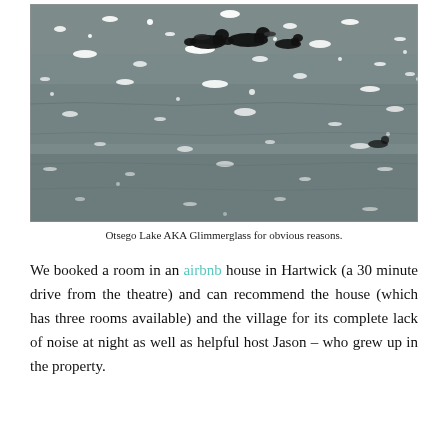[Figure (photo): Black and white photograph of ducks swimming on Otsego Lake (Glimmerglass), with sunlight sparkling on the water surface.]
Otsego Lake AKA Glimmerglass for obvious reasons.
We booked a room in an airbnb house in Hartwick (a 30 minute drive from the theatre) and can recommend the house (which has three rooms available) and the village for its complete lack of noise at night as well as helpful host Jason – who grew up in the property.